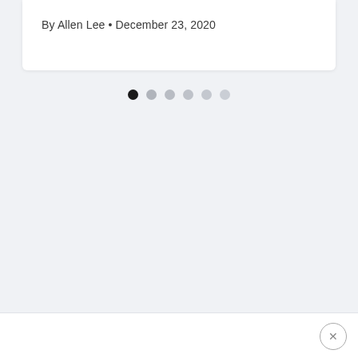By Allen Lee • December 23, 2020
[Figure (other): Pagination dot navigation with 6 dots, first dot active (dark), remaining 5 dots inactive (light grey)]